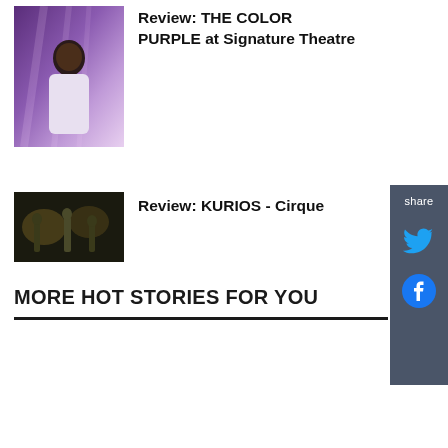[Figure (photo): Photo of a woman standing in front of a purple backdrop with light rays, for the article Review: THE COLOR PURPLE at Signature Theatre]
Review: THE COLOR PURPLE at Signature Theatre
[Figure (photo): Dark performance photo for the article Review: KURIOS - Cirque]
Review: KURIOS - Cirque
MORE HOT STORIES FOR YOU